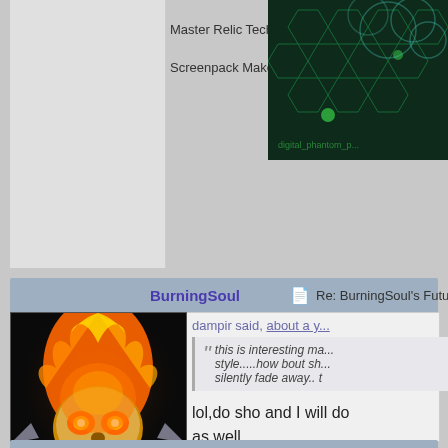Master Relic Tech
Screenpack Maker EX
BurningSoul
Re: BurningSoul's Futu...
[Figure (photo): Flaming skull avatar with metallic spikes, Ghost Rider style artwork]
★ ★★★
Pixels are atom's of resolution,Low-res or Hi-res
dampir said, about a y...
this is interesting ma... style.....how bout sh... silently fade away.. t
lol,do sho and I will do as well